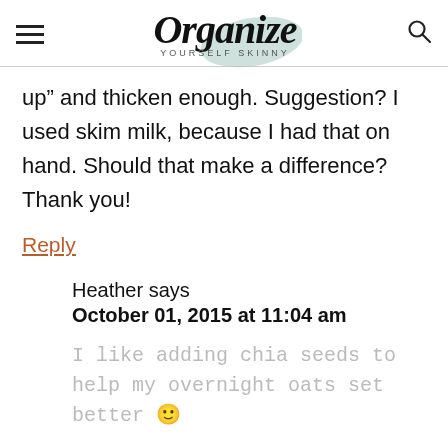Organize Yourself Skinny
up” and thicken enough. Suggestion? I used skim milk, because I had that on hand. Should that make a difference? Thank you!
Reply
Heather says
October 01, 2015 at 11:04 am
I like adding chia seeds to help my overnight oats set better 🙂